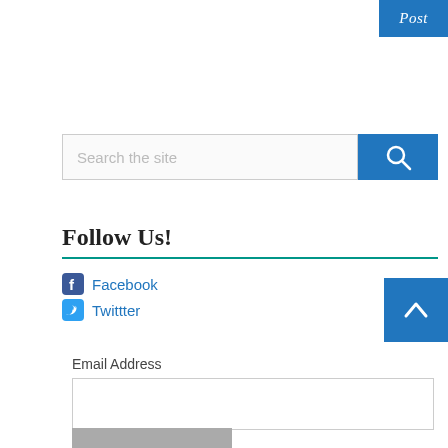Post
[Figure (screenshot): Search bar with text input placeholder 'Search the site' and a blue search button with magnifying glass icon]
Follow Us!
Facebook
Twittter
[Figure (other): Blue scroll-to-top button with upward chevron arrow]
Email Address
[Figure (screenshot): Email address input field (empty) with a partial grey submit button at the bottom]